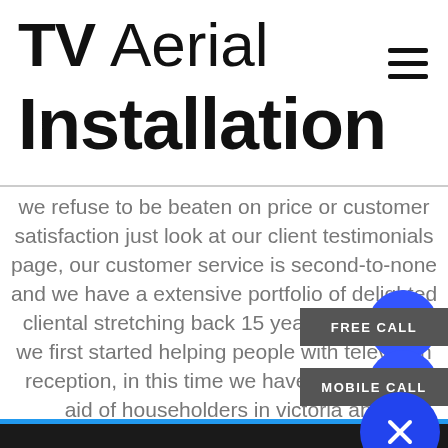TV Aerial Installation
we refuse to be beaten on price or customer satisfaction just look at our client testimonials page, our customer service is second-to-none and we have a extensive portfolio of delighted cliental stretching back 15 years from when we first started helping people with television reception, in this time we have come to the aid of householders in victoria and surrounding areas who have sought the services of professional antenna fitters, we have services and installed 1000s of booster aerials in victoria and guarantee a bt vision aerial service you will be satisfied with that is o